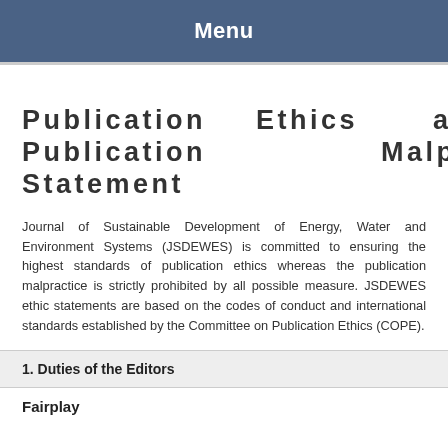Menu
Publication Ethics and Publication Malpractice Statement
Journal of Sustainable Development of Energy, Water and Environment Systems (JSDEWES) is committed to ensuring the highest standards of publication ethics whereas the publication malpractice is strictly prohibited by all possible measure. JSDEWES ethic statements are based on the codes of conduct and international standards established by the Committee on Publication Ethics (COPE).
1. Duties of the Editors
Fairplay